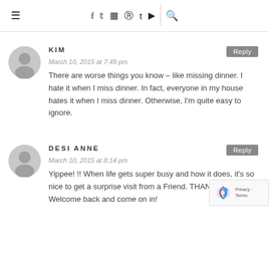≡  f  t  ☖  ℗  t  ▶  🔍
KIM
March 10, 2015 at 7:49 pm
There are worse things you know – like missing dinner. I hate it when I miss dinner. In fact, everyone in my house hates it when I miss dinner. Otherwise, I'm quite easy to ignore.
DESI ANNE
March 10, 2015 at 8:14 pm
Yippee! !! When life gets super busy and how it does, it's so nice to get a surprise visit from a Friend. THANK YOU! Welcome back and come on in!